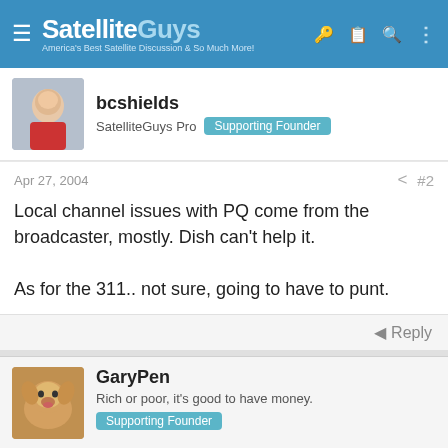SatelliteGuys — America's Best Satellite Discussion & So Much More!
bcshields
SatelliteGuys Pro Supporting Founder
Apr 27, 2004 #2
Local channel issues with PQ come from the broadcaster, mostly. Dish can't help it.

As for the 311.. not sure, going to have to punt.
Reply
GaryPen
Rich or poor, it's good to have money.
Supporting Founder
Apr 27, 2004